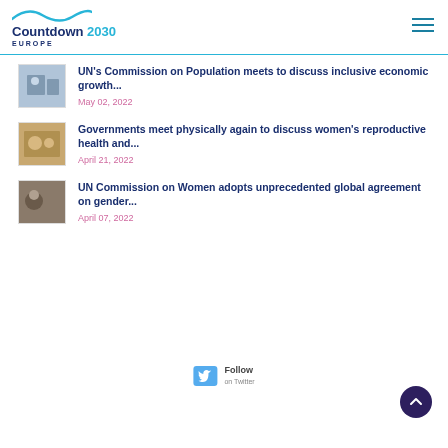Countdown 2030 Europe
UN's Commission on Population meets to discuss inclusive economic growth...
May 02, 2022
Governments meet physically again to discuss women's reproductive health and...
April 21, 2022
UN Commission on Women adopts unprecedented global agreement on gender...
April 07, 2022
Follow on Twitter